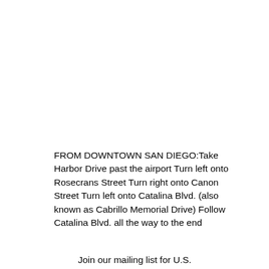FROM DOWNTOWN SAN DIEGO:Take Harbor Drive past the airport Turn left onto Rosecrans Street Turn right onto Canon Street Turn left onto Catalina Blvd. (also known as Cabrillo Memorial Drive) Follow Catalina Blvd. all the way to the end
Join our mailing list for U.S.